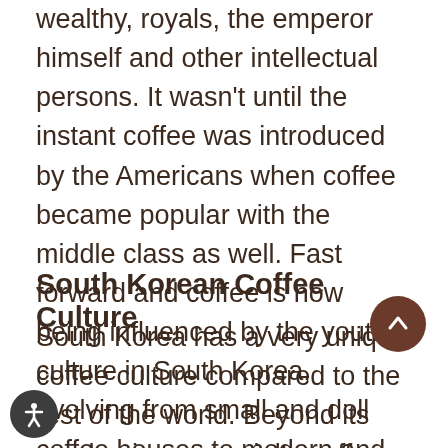wealthy, royals, the emperor himself and other intellectual persons. It wasn't until the instant coffee was introduced by the Americans when coffee became popular with the middle class as well. Fast forward and coffee is now being influenced by the youth culture in South Korea, evolving from small and doll coffee houses to modern and themed cafes.
South Korean Coffee Culture
South Korea has a very unique coffee culture compared to the rest of the world. Beyond its emphasis on specialty coffee beans and roasting processes, coffee drinkers also take a lot of attention to the coffee aesthetics. This the reason many cafes in South Korea are either